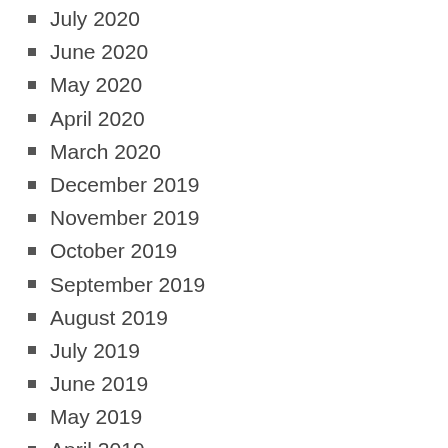July 2020
June 2020
May 2020
April 2020
March 2020
December 2019
November 2019
October 2019
September 2019
August 2019
July 2019
June 2019
May 2019
April 2019
March 2019
February 2019